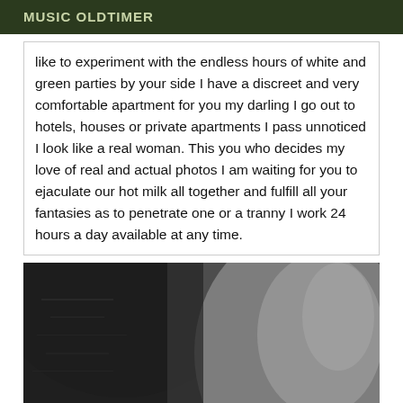MUSIC OLDTIMER
like to experiment with the endless hours of white and green parties by your side I have a discreet and very comfortable apartment for you my darling I go out to hotels, houses or private apartments I pass unnoticed I look like a real woman. This you who decides my love of real and actual photos I am waiting for you to ejaculate our hot milk all together and fulfill all your fantasies as to penetrate one or a tranny I work 24 hours a day available at any time.
[Figure (photo): Black and white close-up photo showing skin and dark rounded shape, cropped at bottom of page]